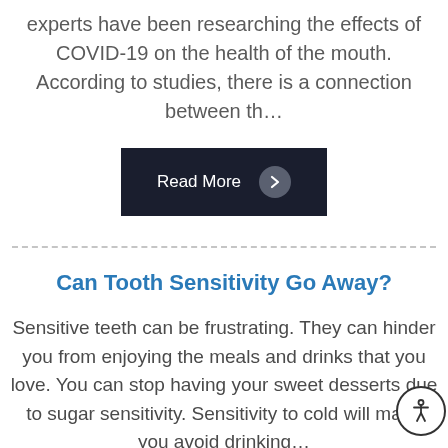experts have been researching the effects of COVID-19 on the health of the mouth. According to studies, there is a connection between th…
[Figure (other): Dark navy Read More button with right arrow circle icon]
Can Tooth Sensitivity Go Away?
Sensitive teeth can be frustrating. They can hinder you from enjoying the meals and drinks that you love. You can stop having your sweet desserts due to sugar sensitivity. Sensitivity to cold will make you avoid drinking…